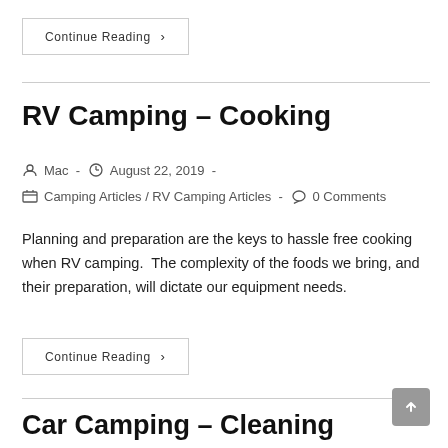Continue Reading ›
RV Camping – Cooking
Mac - August 22, 2019 - Camping Articles / RV Camping Articles - 0 Comments
Planning and preparation are the keys to hassle free cooking when RV camping.  The complexity of the foods we bring, and their preparation, will dictate our equipment needs.
Continue Reading ›
Car Camping – Cleaning